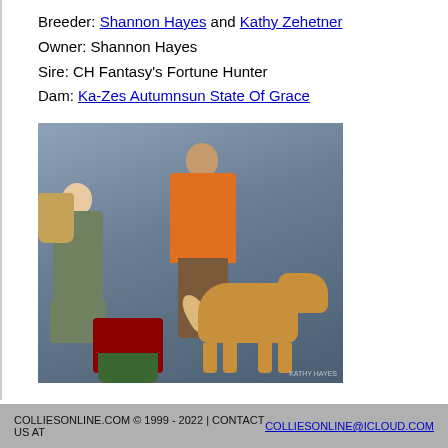Breeder: Shannon Hayes and Kathy Zehetner
Owner: Shannon Hayes
Sire: CH Fantasy's Fortune Hunter
Dam: Ka-Zes Autumnsun State Of Grace
[Figure (photo): Two women and a sable rough collie dog at a dog show. One woman in a green suit holds a gift basket with flowers; the other wears an orange jacket and poses with the collie. Red roses in pots are in the foreground.]
COLLIESONLINE.COM © 1999 - 2022 | CONTACT US AT COLLIESONLINE@ICLOUD.COM